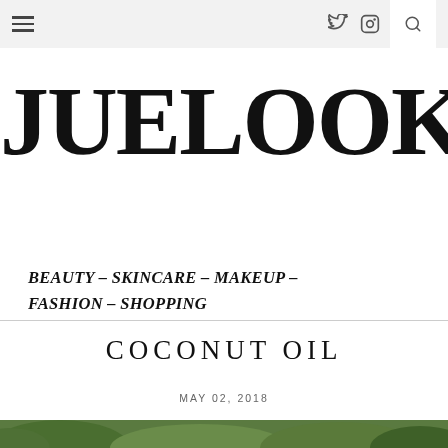≡  ✦ ⊡  🔍
JUELOOK
BEAUTY – SKINCARE – MAKEUP – FASHION – SHOPPING
COCONUT OIL
MAY 02, 2018
[Figure (photo): Green leafy image at bottom of page (partial crop)]